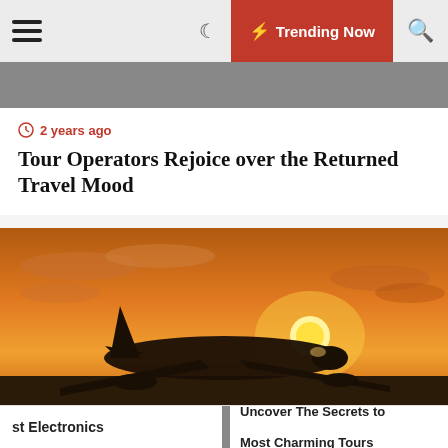☰ ☾ ⚡ Trending Now 🔍
[Figure (photo): Gray banner strip at top of page below navigation bar]
🕐 2 years ago
Tour Operators Rejoice over the Returned Travel Mood
[Figure (photo): Airplane on tarmac at sunset with orange sky and clouds in the background]
🕐 9 months ago
Full aviation recovery still years away says
st Electronics    Uncover The Secrets to Most Charming Tours